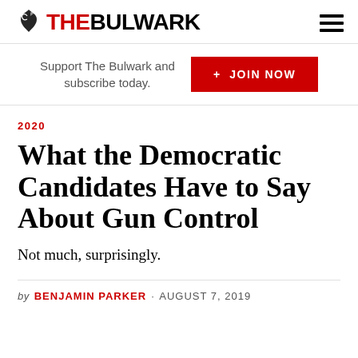THE BULWARK
Support The Bulwark and subscribe today. + JOIN NOW
2020
What the Democratic Candidates Have to Say About Gun Control
Not much, surprisingly.
by BENJAMIN PARKER · AUGUST 7, 2019